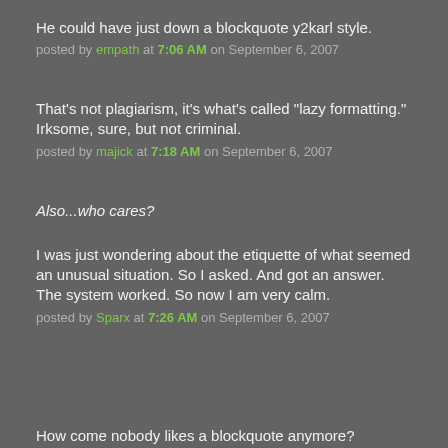He could have just down a blockquote y2karl style.
posted by empath at 7:06 AM on September 6, 2007
That's not plagiarism, it's what's called "lazy formatting." Irksome, sure, but not criminal.
posted by majick at 7:18 AM on September 6, 2007
Also...who cares?
I was just wondering about the etiquette of what seemed an unusual situation. So I asked. And got an answer. The system worked. So now I am very calm.
posted by Sparx at 7:26 AM on September 6, 2007
How come nobody likes a blockquote anymore?